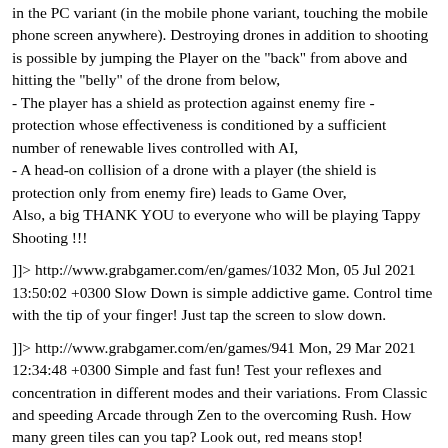in the PC variant (in the mobile phone variant, touching the mobile phone screen anywhere). Destroying drones in addition to shooting is possible by jumping the Player on the "back" from above and hitting the "belly" of the drone from below,
- The player has a shield as protection against enemy fire - protection whose effectiveness is conditioned by a sufficient number of renewable lives controlled with AI,
- A head-on collision of a drone with a player (the shield is protection only from enemy fire) leads to Game Over,
Also, a big THANK YOU to everyone who will be playing Tappy Shooting !!!
]]> http://www.grabgamer.com/en/games/1032 Mon, 05 Jul 2021 13:50:02 +0300 Slow Down is simple addictive game. Control time with the tip of your finger! Just tap the screen to slow down.
]]> http://www.grabgamer.com/en/games/941 Mon, 29 Mar 2021 12:34:48 +0300 Simple and fast fun! Test your reflexes and concentration in different modes and their variations. From Classic and speeding Arcade through Zen to the overcoming Rush. How many green tiles can you tap? Look out, red means stop!
]]> http://www.grabgamer.com/en/games/733 Sat, 18 Apr 2020 11:17:44 +0300 Goblins VS Skeletons is a simple tap game…tap right for goblins to get inside in the cave and tap left for skeletons